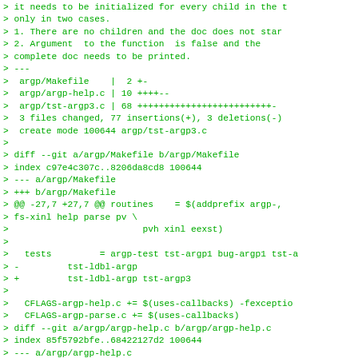> it needs to be initialized for every child in the t
> only in two cases.
> 1. There are no children and the doc does not star
> 2. Argument  to the function  is false and the
> complete doc needs to be printed.
> ---
>  argp/Makefile    |  2 +-
>  argp/argp-help.c | 10 ++++--
>  argp/tst-argp3.c | 68 +++++++++++++++++++++++++-
>  3 files changed, 77 insertions(+), 3 deletions(-)
>  create mode 100644 argp/tst-argp3.c
>
> diff --git a/argp/Makefile b/argp/Makefile
> index c97e4c307c..8206da8cd8 100644
> --- a/argp/Makefile
> +++ b/argp/Makefile
> @@ -27,7 +27,7 @@ routines    = $(addprefix argp-,
> fs-xinl help parse pv \
>                         pvh xinl eexst)
>
>   tests         = argp-test tst-argp1 bug-argp1 tst-a
> -         tst-ldbl-argp
> +         tst-ldbl-argp tst-argp3
>
>   CFLAGS-argp-help.c += $(uses-callbacks) -fexceptio
>   CFLAGS-argp-parse.c += $(uses-callbacks)
> diff --git a/argp/argp-help.c b/argp/argp-help.c
> index 85f5792bfe..68422127d2 100644
> --- a/argp/argp-help.c
> +++ b/argp/argp-help.c
> @@ -1465,10 +1465,11 @@ argp_doc (const struct argp
> struct argp_state *state,